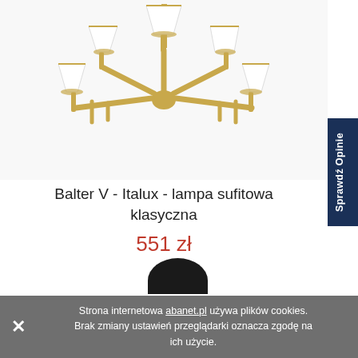[Figure (photo): A gold/brass five-arm chandelier with white lampshades, classic style, product photo on white background]
Balter V - Italux - lampa sufitowa klasyczna
551 zł
Sprawdź Opinie
Strona internetowa abanet.pl używa plików cookies. Brak zmiany ustawień przeglądarki oznacza zgodę na ich użycie.